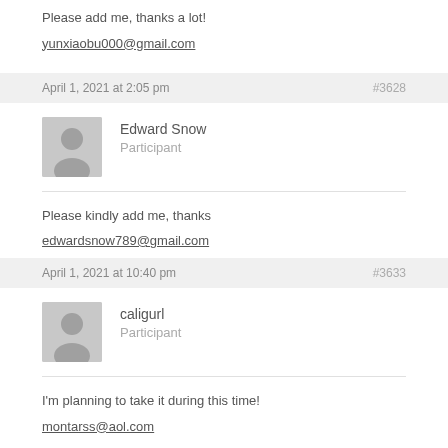Please add me, thanks a lot!
yunxiaobu000@gmail.com
April 1, 2021 at 2:05 pm   #3628
Edward Snow
Participant
Please kindly add me, thanks
edwardsnow789@gmail.com
April 1, 2021 at 10:40 pm   #3633
caligurl
Participant
I'm planning to take it during this time!
montarss@aol.com